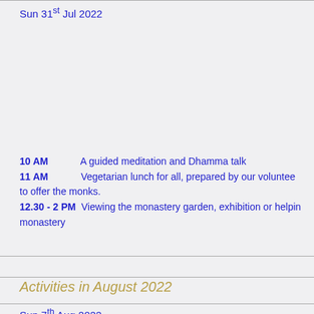Sun 31st Jul 2022
10 AM          A guided meditation and Dhamma talk
11 AM          Vegetarian lunch for all, prepared by our volunteers to offer the monks.
12.30 - 2 PM  Viewing the monastery garden, exhibition or helping monastery
Activities in August 2022
Sun 7th Aug 2022